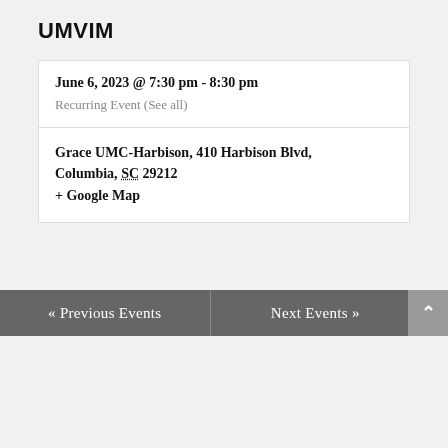UMVIM
June 6, 2023 @ 7:30 pm - 8:30 pm
Recurring Event (See all)
Grace UMC-Harbison, 410 Harbison Blvd, Columbia, SC 29212
+ Google Map
Find out more »
« Previous Events
Next Events »